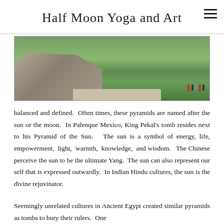Half Moon Yoga and Art
[Figure (photo): Aerial or elevated view of a Mayan pyramid site with green grass lawn, stone structure on the left, a path, and people walking in the background]
balanced and defined.  Often times, these pyramids are named after the sun or the moon.  In Palenque Mexico, King Pekal's tomb resides next to his Pyramid of the Sun.   The sun is a symbol of energy, life, empowerment,  light,  warmth,  knowledge,  and wisdom.   The Chinese perceive the sun to be the ultimate Yang.  The sun can also represent our self that is expressed outwardly.  In Indian Hindu cultures, the sun is the divine rejuvinator.
Seemingly unrelated cultures in Ancient Egypt created similar pyramids as tombs to bury their rulers.  One